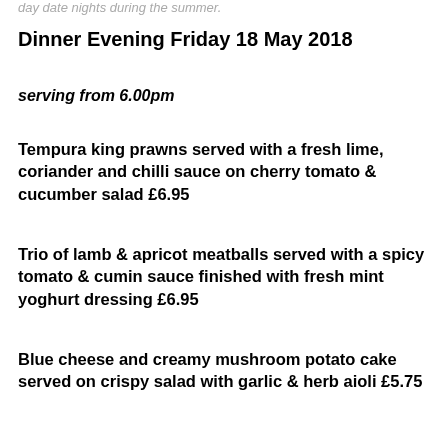day date nights during the summer.
Dinner Evening Friday 18 May 2018
serving from 6.00pm
Tempura king prawns served with a fresh lime, coriander and chilli sauce on cherry tomato & cucumber salad £6.95
Trio of lamb & apricot meatballs served with a spicy tomato & cumin sauce finished with fresh mint yoghurt dressing £6.95
Blue cheese and creamy mushroom potato cake served on crispy salad with garlic & herb aioli £5.75